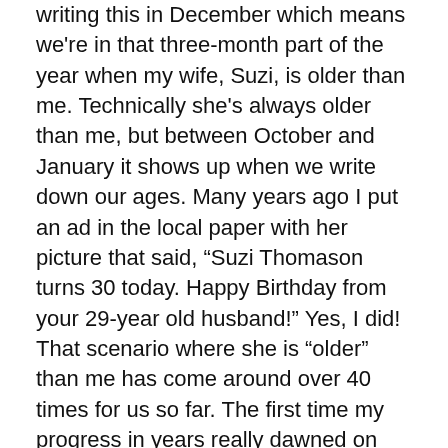writing this in December which means we're in that three-month part of the year when my wife, Suzi, is older than me. Technically she's always older than me, but between October and January it shows up when we write down our ages. Many years ago I put an ad in the local paper with her picture that said, "Suzi Thomason turns 30 today. Happy Birthday from your 29-year old husband!" Yes, I did! That scenario where she is "older" than me has come around over 40 times for us so far. The first time my progress in years really dawned on me was a few years back when I realized I was the age my dad was when I got married. That gives you some perspective.
Along with getting older comes the empty nest transition. I posted the other day that Suzi and I had gotten our Christmas tree together, alone, for the first time in a long time. That was bittersweet. The kids get older, they move out, they get married (no grandkids yet),